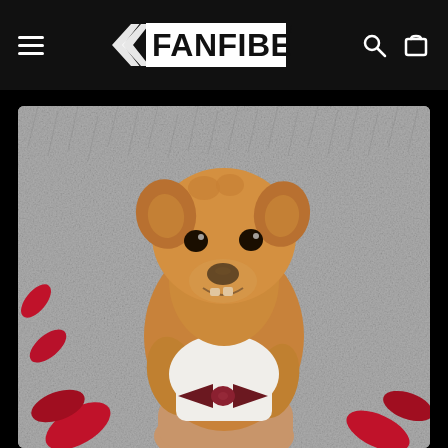[Figure (screenshot): FanFiber website navigation bar on black background with hamburger menu icon on the left, FanFiber logo in the center, and search and cart icons on the right.]
[Figure (photo): A small golden/tan puppy dog wearing a white collar bib with a dark burgundy bow tie, sitting in front of a fluffy gray background with red rose petals scattered around. The dog has an endearingly awkward expression showing its teeth.]